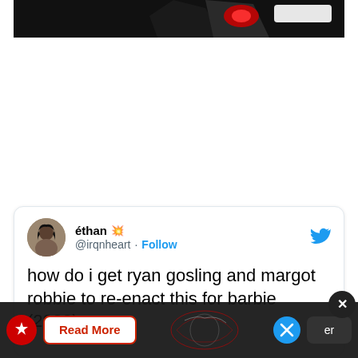[Figure (screenshot): Top partial image with dark background showing partial graphic with red element]
[Figure (screenshot): Tweet card from user 'éthan @irqnheart' with text: 'how do i get ryan gosling and margot robbie to re-enact this for barbie (2023)']
how do i get ryan gosling and margot robbie to re-enact this for barbie (2023)
[Figure (screenshot): Bottom advertisement banner with red logo, Read More button, world map graphic, Twitter X icon, and dark button]